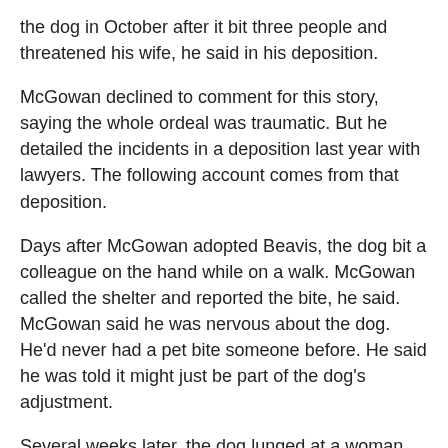the dog in October after it bit three people and threatened his wife, he said in his deposition.
McGowan declined to comment for this story, saying the whole ordeal was traumatic. But he detailed the incidents in a deposition last year with lawyers. The following account comes from that deposition.
Days after McGowan adopted Beavis, the dog bit a colleague on the hand while on a walk. McGowan called the shelter and reported the bite, he said. McGowan said he was nervous about the dog. He'd never had a pet bite someone before. He said he was told it might just be part of the dog's adjustment.
Several weeks later, the dog lunged at a woman who had bent down to pet him. Beavis hit the woman in the mouth with his snout. Photos of her injury show bruises around her mouth.